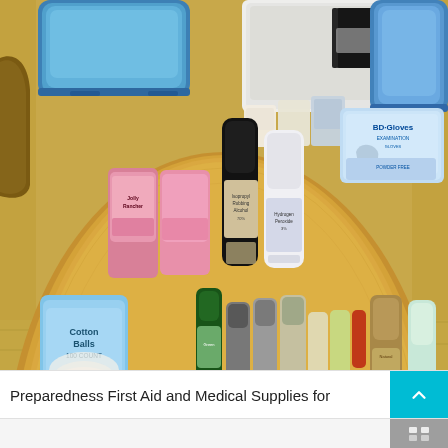[Figure (photo): A round wooden table covered with a wide array of first aid and medical supplies including: blue plastic storage tubs, cotton balls, BD gloves box, Advil boxes, Band-Aid products, ACE bandages, Nexcare liquid bandage, Benadryl allergy, Nexcare branded bag, various bottles (hydrogen peroxide, rubbing alcohol), medical tape, gauze pads, scissors, tweezers, Q-tips, antiseptic wipes, and other preparedness medical items.]
Preparedness First Aid and Medical Supplies for